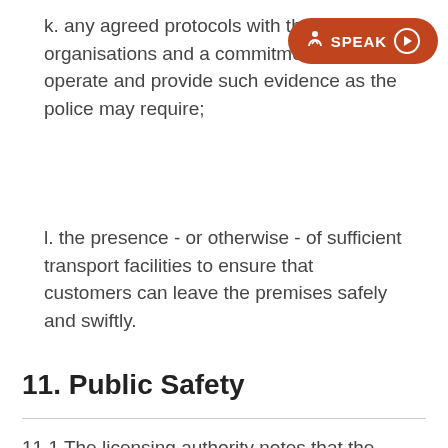k. any agreed protocols with the other organisations and a commitment to co-operate and provide such evidence as the police may require;
l. the presence - or otherwise - of sufficient transport facilities to ensure that customers can leave the premises safely and swiftly.
11. Public Safety
11.1 The licensing authority notes that the public safety objective is concerned with the physical safety of the people using the relevant premises and not with public health, which is dealt with in other legislation.